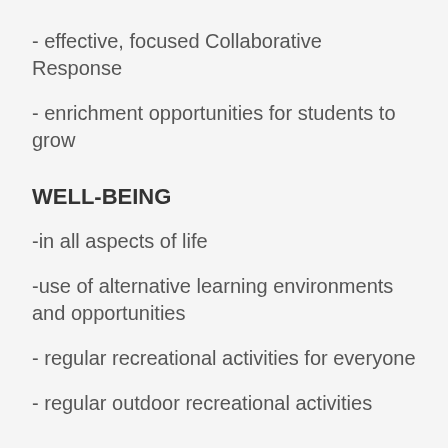- effective, focused Collaborative Response
- enrichment opportunities for students to grow
WELL-BEING
-in all aspects of life
-use of alternative learning environments and opportunities
- regular recreational activities for everyone
- regular outdoor recreational activities